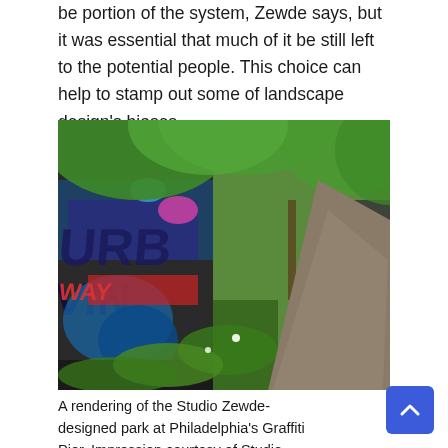be portion of the system, Zewde says, but it was essential that much of it be still left to the potential people. This choice can help to stamp out some of landscape design's biases.
[Figure (photo): A photograph of a park path at Philadelphia's Graffiti Pier, with graffiti-covered walls on the left and lush green trees overhead, and a gravel path receding into the distance on the right.]
A rendering of the Studio Zewde-designed park at Philadelphia's Graffiti Pier. Impression courtesy of Studio Zewde.